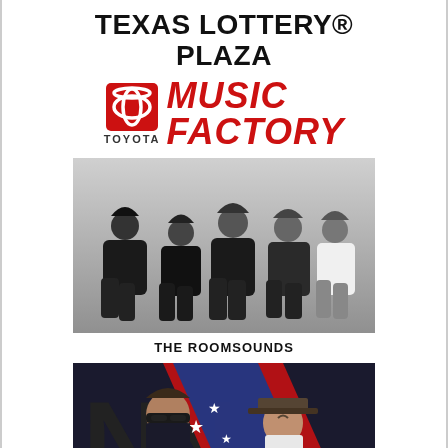TEXAS LOTTERY® PLAZA
[Figure (logo): Toyota Music Factory logo with Toyota red square logo icon, 'TOYOTA' text below, and 'MUSIC FACTORY' in red italic bold letters]
[Figure (photo): Black and white photo of five rock band members sitting/lounging together — The Roomsounds]
THE ROOMSOUNDS
[Figure (photo): Color photo of two men with American flag/stars and stripes graphic, partially cropped — appears to be a country music duo]